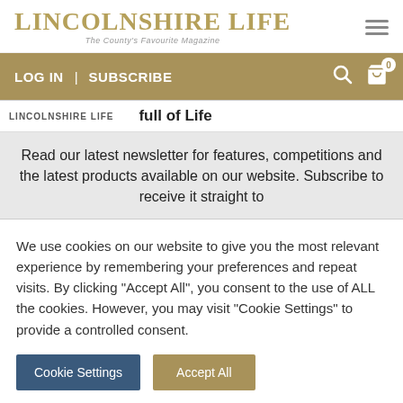LINCOLNSHIRE LIFE — The County's Favourite Magazine
LOG IN | SUBSCRIBE
[Figure (screenshot): Partial popup card showing LINCOLNSHIRE LIFE logo and 'full of Life' tagline with newsletter subscription text: 'Read our latest newsletter for features, competitions and the latest products available on our website. Subscribe to receive it straight to']
We use cookies on our website to give you the most relevant experience by remembering your preferences and repeat visits. By clicking "Accept All", you consent to the use of ALL the cookies. However, you may visit "Cookie Settings" to provide a controlled consent.